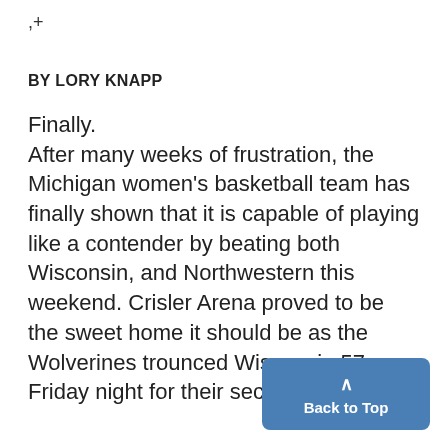,+
BY LORY KNAPP
Finally. After many weeks of frustration, the Michigan women's basketball team has finally shown that it is capable of playing like a contender by beating both Wisconsin, and Northwestern this weekend. Crisler Arena proved to be the sweet home it should be as the Wolverines trounced Wisconsin 57, Friday night for their secon
Back to Top